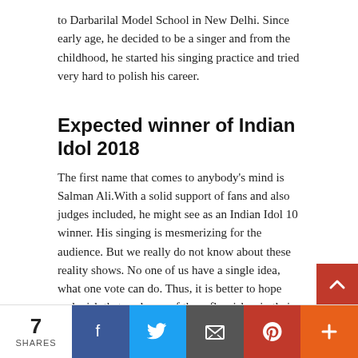to Darbarilal Model School in New Delhi. Since early age, he decided to be a singer and from the childhood, he started his singing practice and tried very hard to polish his career.
Expected winner of Indian Idol 2018
The first name that comes to anybody’s mind is Salman Ali.With a solid support of fans and also judges included, he might see as an Indian Idol 10 winner. His singing is mesmerizing for the audience. But we really do not know about these reality shows. No one of us have a single idea, what one vote can do. Thus, it is better to hope and wish that each one of them flourishes in their best capacity.
Tags: Indian Idol 2018 Contestants, Indian Idol 2018 Judges, Indian Idol 2018 winner, Top 5 Indian Idol 2018